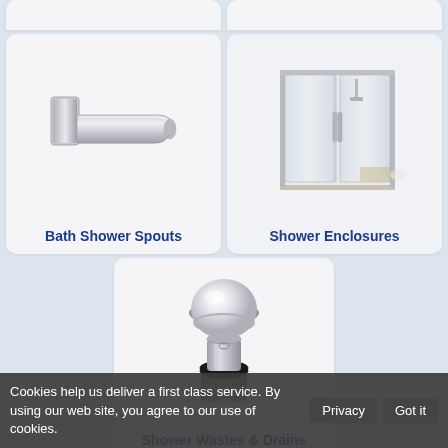[Figure (photo): Partial top view of a product card (cropped) - left card]
[Figure (photo): Partial top view of a product card (cropped) - right card]
[Figure (photo): Chrome bath shower spout mounted on wall]
Bath Shower Spouts
[Figure (photo): Glass shower enclosure with sliding doors]
Shower Enclosures
[Figure (photo): Chrome click-clack shower waste/drain plug]
Shower Wastes & Drains
Cookies help us deliver a first class service. By using our web site, you agree to our use of cookies. Privacy Got it